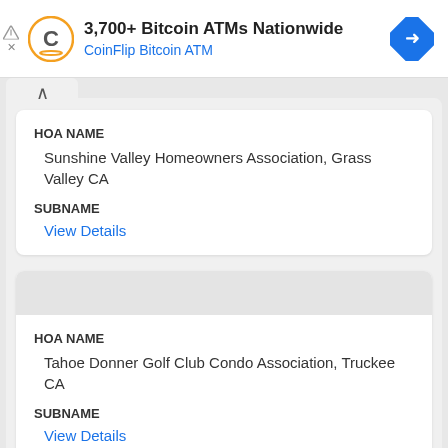[Figure (screenshot): Advertisement banner for CoinFlip Bitcoin ATM showing logo, headline '3,700+ Bitcoin ATMs Nationwide', and a blue diamond navigation icon]
HOA NAME
Sunshine Valley Homeowners Association, Grass Valley CA
SUBNAME
View Details
HOA NAME
Tahoe Donner Golf Club Condo Association, Truckee CA
SUBNAME
View Details